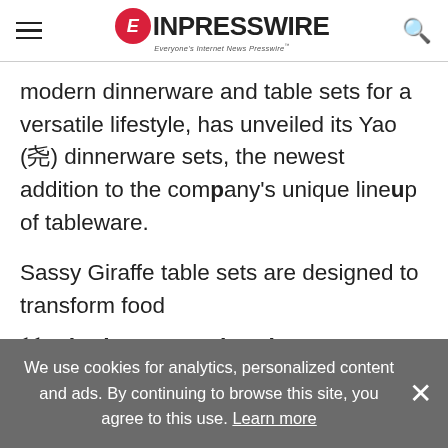EIN PRESSWIRE - Everyone's Internet News Presswire
modern dinnerware and table sets for a versatile lifestyle, has unveiled its Yao (尧) dinnerware sets, the newest addition to the company's unique lineup of tableware.
Sassy Giraffe table sets are designed to transform food
Whether you're hosting a dinner party or just setting
We use cookies for analytics, personalized content and ads. By continuing to browse this site, you agree to this use. Learn more